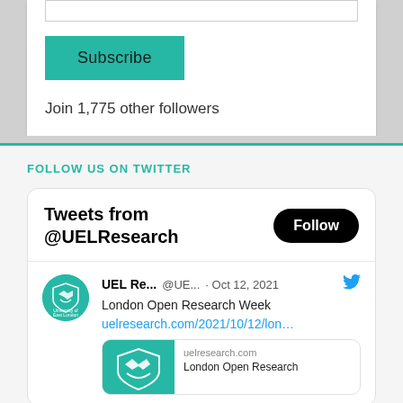[Figure (screenshot): Input field bar (subscribe email field, top portion cut off)]
Subscribe
Join 1,775 other followers
FOLLOW US ON TWITTER
[Figure (screenshot): Twitter widget showing Tweets from @UELResearch with Follow button, tweet from UEL Re... @UE... Oct 12, 2021 about London Open Research Week with link uelresearch.com/2021/10/12/lon... and link preview card showing uelresearch.com London Open Research]
Tweets from @UELResearch
UEL Re...  @UE...  · Oct 12, 2021
London Open Research Week
uelresearch.com/2021/10/12/lon...
uelresearch.com
London Open Research